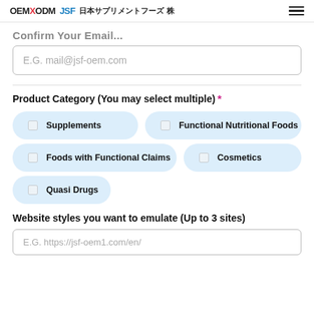OEMXODM JSF 日本サプリメントフーズ株
Confirm Your Email...
E.G. mail@jsf-oem.com
Product Category (You may select multiple) *
Supplements
Functional Nutritional Foods
Foods with Functional Claims
Cosmetics
Quasi Drugs
Website styles you want to emulate (Up to 3 sites)
E.G. https://jsf-oem1.com/en/